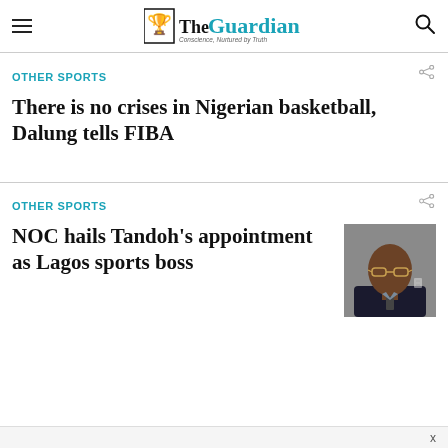The Guardian — Conscience, Nurtured by Truth
OTHER SPORTS
There is no crises in Nigerian basketball, Dalung tells FIBA
OTHER SPORTS
NOC hails Tandoh’s appointment as Lagos sports boss
[Figure (photo): Headshot of a man wearing glasses and a dark suit with a tie, appearing to be in an indoor setting]
x